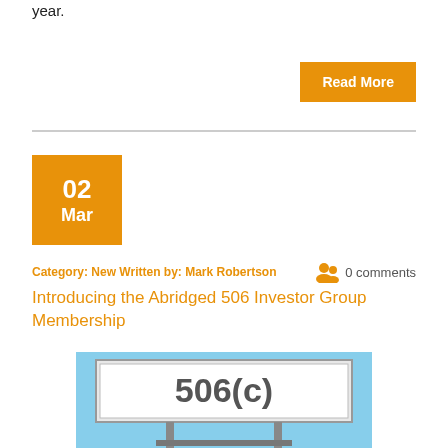year.
Read More
02 Mar
Category: New Written by: Mark Robertson   0 comments
Introducing the Abridged 506 Investor Group Membership
[Figure (photo): Billboard sign displaying '506(c)' against a blue sky background]